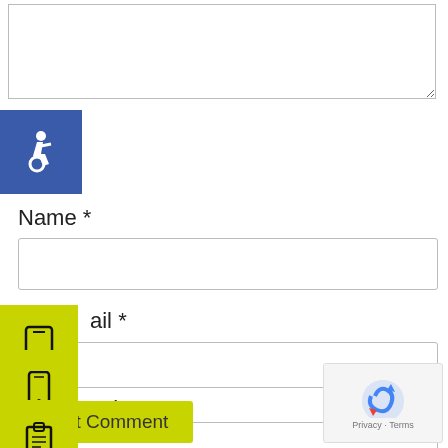[Figure (screenshot): Comment form section of a webpage with textarea, name/email/website input fields, accessibility icon, phone/mobile/clipboard icons, save checkbox, Post Comment button, and reCAPTCHA widget.]
Name *
ail *
osite
Save my name, email, and website in this browser for the next time I comment.
Post Comment
Privacy · Terms